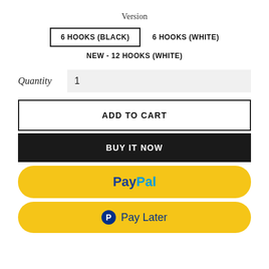Version
6 HOOKS (BLACK)
6 HOOKS (WHITE)
NEW - 12 HOOKS (WHITE)
Quantity  1
ADD TO CART
BUY IT NOW
[Figure (logo): PayPal button with blue Pay and light blue Pal text on yellow rounded background]
[Figure (logo): PayPal Pay Later button with P logo and Pay Later text on yellow rounded background]